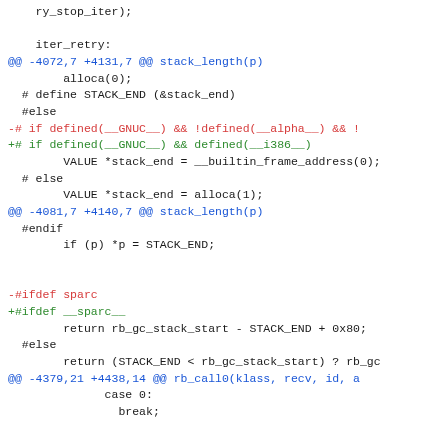[Figure (other): Code diff showing changes to Ruby source code. Lines shown in blue are diff headers, red lines are removals, green lines are additions, and black lines are context. Content includes changes to stack_length function, sparc/sparc__ ifdefs, and rb_call0 function case statements.]